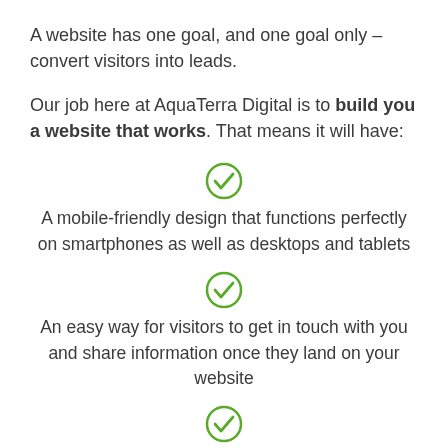A website has one goal, and one goal only – convert visitors into leads.
Our job here at AquaTerra Digital is to build you a website that works. That means it will have:
A mobile-friendly design that functions perfectly on smartphones as well as desktops and tablets
An easy way for visitors to get in touch with you and share information once they land on your website
An SEO strategy that attracts customers ready to buy while landing you at the top of the search